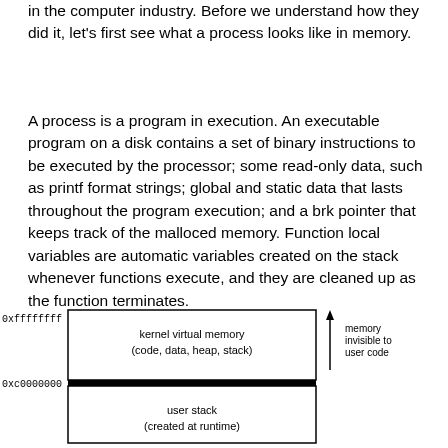in the computer industry. Before we understand how they did it, let's first see what a process looks like in memory.
A process is a program in execution. An executable program on a disk contains a set of binary instructions to be executed by the processor; some read-only data, such as printf format strings; global and static data that lasts throughout the program execution; and a brk pointer that keeps track of the malloced memory. Function local variables are automatic variables created on the stack whenever functions execute, and they are cleaned up as the function terminates.
[Figure (engineering-diagram): Memory layout diagram showing address space. At 0xffffffff is kernel virtual memory (code, data, heap, stack) labeled as memory invisible to user code with an upward arrow. At 0xc0000000 is user stack (created at runtime).]